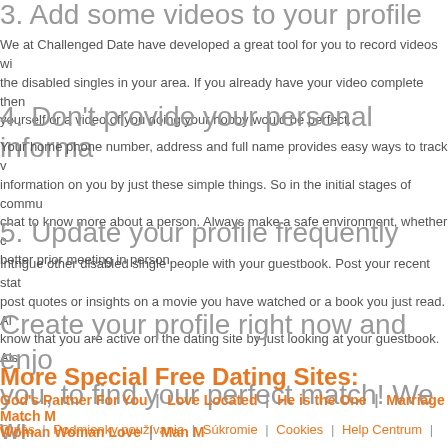3. Add some videos to your profile
We at Challenged Date have developed a great tool for you to record videos with the disabled singles in your area. If you already have your video complete then yourself or a video of you doing your hobby would be perfect.
4. Don't provide your personal informa...
Your home phone number, address and full name provides easy ways to track information on you by just these simple things. So in the initial stages of commu chat to know more about a person. Always make a safe environment, whether better prior meeting in person.
5. Update your profile frequently
Intrigue other disabled single people with your guestbook. Post your recent stat post quotes or insights on a movie you have watched or a book you just read. A know that you are active on the dating site by just looking at your guestbook. Al
Create your profile right now and enjo you, to find your perfect match! We wi
More Special Free Dating Sites:
God's Partner For You | Love Located | He is the One | Marriage Match M Woman Woman Love | Man M
O nás | Podmienky používania | Súkromie | Cookies | Help Centrum |